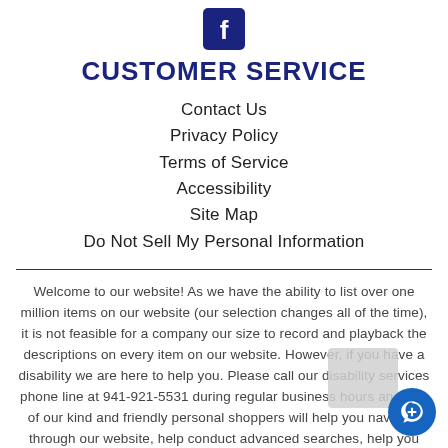[Figure (logo): Facebook logo icon — white letter f on dark blue square background]
CUSTOMER SERVICE
Contact Us
Privacy Policy
Terms of Service
Accessibility
Site Map
Do Not Sell My Personal Information
Welcome to our website! As we have the ability to list over one million items on our website (our selection changes all of the time), it is not feasible for a company our size to record and playback the descriptions on every item on our website. However, if you have a disability we are here to help you. Please call our disability services phone line at 941-921-5531 during regular business hours and one of our kind and friendly personal shoppers will help you navigate through our website, help conduct advanced searches, help you choose the item you are looking for with the specifications you are seeking, read you the specifications of any item and consult with you about the products themselves. There is no charge for the help of this